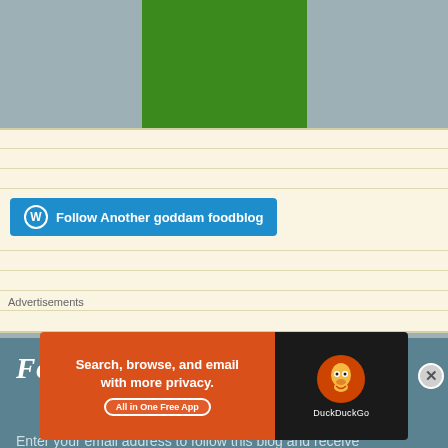[Figure (other): Green rectangular block on gray-blue background at top of page]
[Figure (other): WordPress Follow widget with cream/beige background and horizontal ruled lines containing a blue Follow button]
Follow Another goddam foodblog
Follow Blog via Email
Enter your email address to follow this blog and receive notifications of new posts by email.
Advertisements
[Figure (other): DuckDuckGo advertisement banner: orange left side reads 'Search, browse, and email with more privacy. All in One Free App', dark right side with DuckDuckGo duck logo]